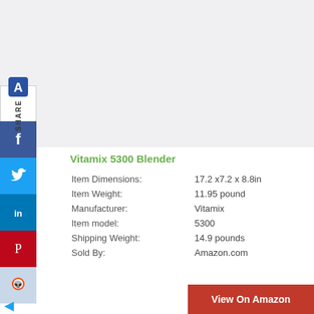[Figure (screenshot): Top gray background area representing a product image placeholder]
[Figure (infographic): Social share sidebar with icons: Share logo/brand, Facebook, Twitter, LinkedIn, Pinterest, Reddit]
Vitamix 5300 Blender
| Attribute | Value |
| --- | --- |
| Item Dimensions: | 17.2 x7.2 x 8.8in |
| Item Weight: | 11.95 pound |
| Manufacturer: | Vitamix |
| Item model: | 5300 |
| Shipping Weight: | 14.9 pounds |
| Sold By: | Amazon.com |
[Figure (illustration): View On Amazon red button at bottom right]